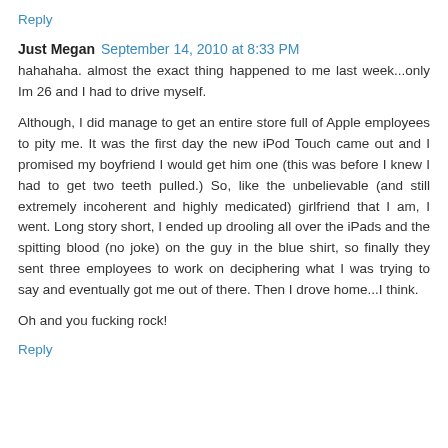Reply
Just Megan  September 14, 2010 at 8:33 PM
hahahaha. almost the exact thing happened to me last week...only Im 26 and I had to drive myself.

Although, I did manage to get an entire store full of Apple employees to pity me. It was the first day the new iPod Touch came out and I promised my boyfriend I would get him one (this was before I knew I had to get two teeth pulled.) So, like the unbelievable (and still extremely incoherent and highly medicated) girlfriend that I am, I went. Long story short, I ended up drooling all over the iPads and the spitting blood (no joke) on the guy in the blue shirt, so finally they sent three employees to work on deciphering what I was trying to say and eventually got me out of there. Then I drove home...I think.

Oh and you fucking rock!
Reply